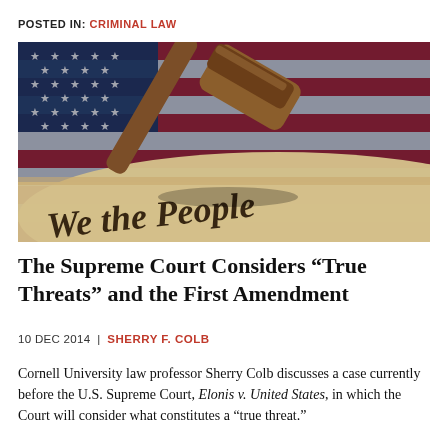POSTED IN: CRIMINAL LAW
[Figure (photo): A wooden judge's gavel resting on a rolled copy of the U.S. Constitution reading 'We the People', with an American flag in the background.]
The Supreme Court Considers “True Threats” and the First Amendment
10 DEC 2014  |  SHERRY F. COLB
Cornell University law professor Sherry Colb discusses a case currently before the U.S. Supreme Court, Elonis v. United States, in which the Court will consider what constitutes a “true threat.”